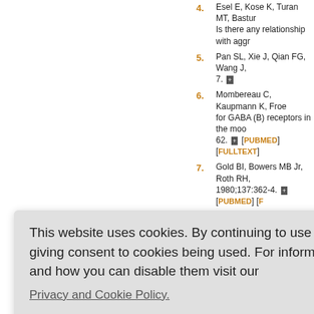4. Esel E, Kose K, Turan MT, Basturk M... Is there any relationship with aggr...
5. Pan SL, Xie J, Qian FG, Wang J, ... 7.
6. Mombereau C, Kaupmann K, Froe... for GABA (B) receptors in the moo... 62. [PUBMED] [FULLTEXT]
7. Gold BI, Bowers MB Jr, Roth RH, ... 1980;137:362-4. [PUBMED] [F...]
8. Roy A, Dejong J, Ferraro T. CSF G...
9. Lloyd KG, Thuret F, Pilc A. Upregu... action of repeated administration o... 9. [PUBMED] [FULLTEXT]
10. Kimber JR, Cross JA, Horton RW...
Pharmac... ictionary o... 5. p. 181-... Kakimoto... ological st... J. Amelio... [PUBMED...] arlic: The... -108. Fre M. Beh... valuation... erry B, Si... Psychopharmacology (Berl) 1985;
This website uses cookies. By continuing to use this website you are giving consent to cookies being used. For information on cookies and how you can disable them visit our Privacy and Cookie Policy.
AGREE & PROCEED